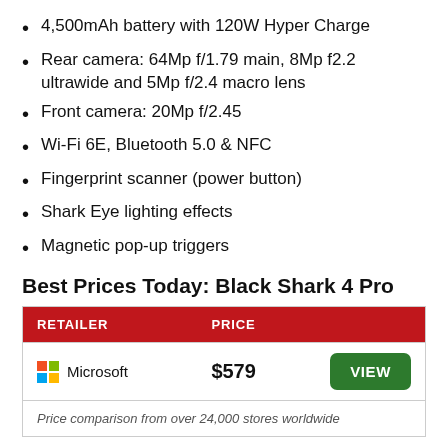4,500mAh battery with 120W Hyper Charge
Rear camera: 64Mp f/1.79 main, 8Mp f2.2 ultrawide and 5Mp f/2.4 macro lens
Front camera: 20Mp f/2.45
Wi-Fi 6E, Bluetooth 5.0 & NFC
Fingerprint scanner (power button)
Shark Eye lighting effects
Magnetic pop-up triggers
Best Prices Today: Black Shark 4 Pro
| RETAILER | PRICE |  |
| --- | --- | --- |
| Microsoft | $579 | VIEW |